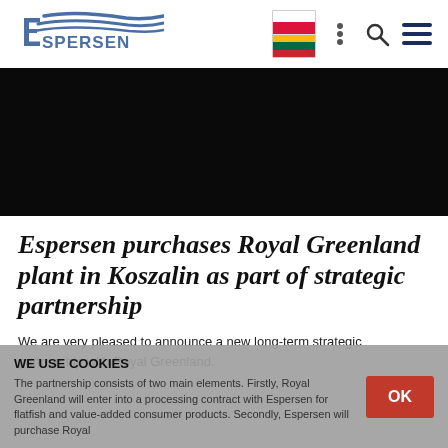[Figure (logo): Espersen company logo — stylized wave lines above the text ESPERSEN]
[Figure (infographic): Navigation header with Polish and Lithuanian flag icons, a settings/dot icon, search icon, and hamburger menu icon]
[Figure (photo): Large dark/black hero image area]
Espersen purchases Royal Greenland plant in Koszalin as part of strategic partnership
We are very pleased to announce a new long-term strategic partnership with Royal Greenland.
The partnership consists of two main elements. Firstly, Royal Greenland will enter into a processing contract with Espersen for flatfish and value-added consumer products. Secondly, Espersen will purchase Royal
WE USE COOKIES
OK